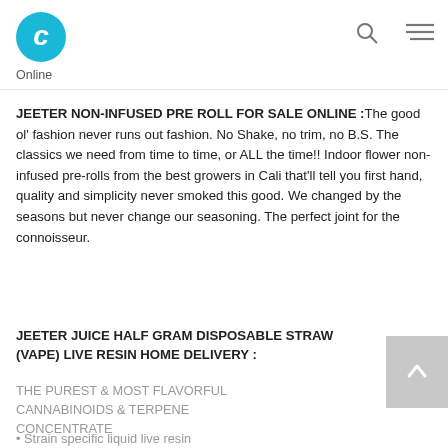[Figure (logo): Cyan circular logo with white letter C]
Online
JEETER NON-INFUSED PRE ROLL FOR SALE ONLINE : The good ol' fashion never runs out fashion. No Shake, no trim, no B.S. The classics we need from time to time, or ALL the time!! Indoor flower non-infused pre-rolls from the best growers in Cali that'll tell you first hand, quality and simplicity never smoked this good. We changed by the seasons but never change our seasoning. The perfect joint for the connoisseur.
JEETER JUICE HALF GRAM DISPOSABLE STRAW (VAPE) LIVE RESIN HOME DELIVERY :
THE PUREST & MOST FLAVORFUL CANNABINOIDS & TERPENE CONCENTRATE
Strain specific liquid live resin